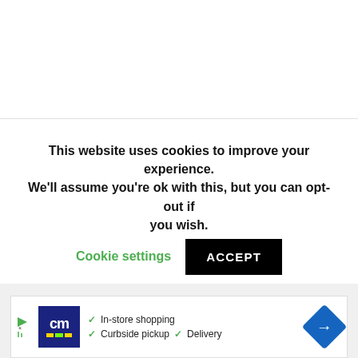This website uses cookies to improve your experience. We'll assume you're ok with this, but you can opt-out if you wish. Cookie settings  ACCEPT
[Figure (screenshot): Advertisement banner for CM store with logo, checkmarks for In-store shopping, Curbside pickup, and Delivery, with a blue direction arrow icon.]